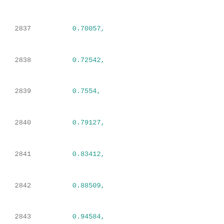2837    0.70057,
2838    0.72542,
2839    0.7554,
2840    0.79127,
2841    0.83412,
2842    0.88509,
2843    0.94584,
2844    1.01831,
2845    1.10531,
2846    1.20951,
2847    1.33421,
2848    1.48411,
2849    1.66371
2850    ],
2851    [
2852    0.58355,
2853    0.69378,
2854    0.71455,
2855    0.7394,
2856    0.76939,
2857    0.80525,